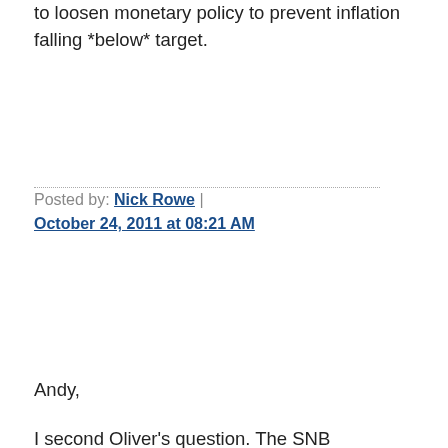to loosen monetary policy to prevent inflation falling *below* target.
Posted by: Nick Rowe | October 24, 2011 at 08:21 AM
Andy,
I second Oliver's question. The SNB annouced a floor of 1.20 and the currency moved instantly to that level (a drop of 8%) and has not fallen below it despite ongoing stress in the euro zone and a rally in other safe-haven currencies like the JPY. If the SNB annouced